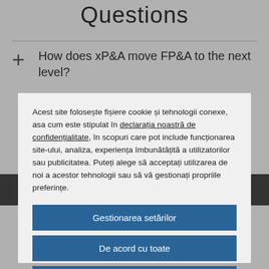Questions
How does xP&A move FP&A to the next level?
Acest site folosește fișiere cookie și tehnologii conexe, asa cum este stipulat în declarația noastră de confidențialitate, în scopuri care pot include funcționarea site-ului, analiza, experiența îmbunătățită a utilizatorilor sau publicitatea. Puteți alege să acceptați utilizarea de noi a acestor tehnologii sau să vă gestionați propriile preferințe.
Gestionarea setărilor
De acord cu toate
Resping toate
Declarația privind cookie-urile